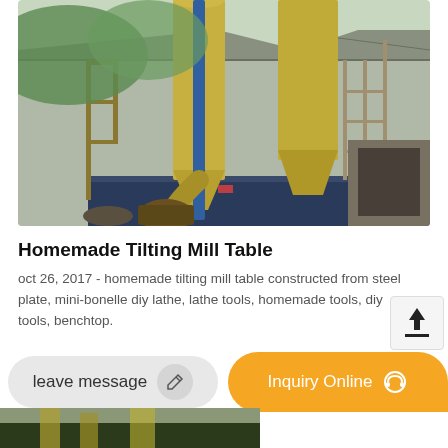[Figure (photo): Industrial milling facility with large yellow cylindrical silos/hoppers, conveyor structures, scaffolding, and machinery. The structure is partially open-air with mountains/greenery visible in the background.]
Homemade Tilting Mill Table
oct 26, 2017 - homemade tilting mill table constructed from steel plate, mini-bonelle diy lathe, lathe tools, homemade tools, diy tools, benchtop.
leave message
Inquiry Online